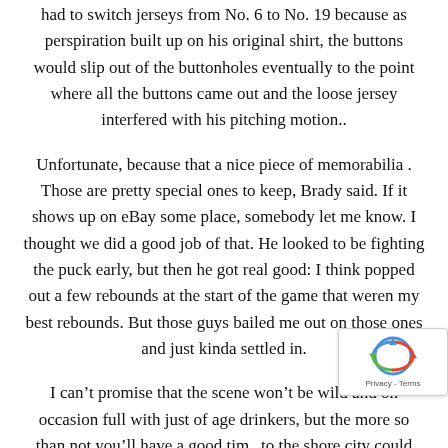had to switch jerseys from No. 6 to No. 19 because as perspiration built up on his original shirt, the buttons would slip out of the buttonholes eventually to the point where all the buttons came out and the loose jersey interfered with his pitching motion..
Unfortunate, because that a nice piece of memorabilia . Those are pretty special ones to keep, Brady said. If it shows up on eBay some place, somebody let me know. I thought we did a good job of that. He looked to be fighting the puck early, but then he got real good: I think popped out a few rebounds at the start of the game that weren my best rebounds. But those guys bailed me out on those ones and just kinda settled in.
I can't promise that the scene won't be wild and on occasion full with just of age drinkers, but the more so than not you'll have a good time to the shore city could find almost a carnival like atmosphere w could find daily shows of the famous diving horse to food to amusement